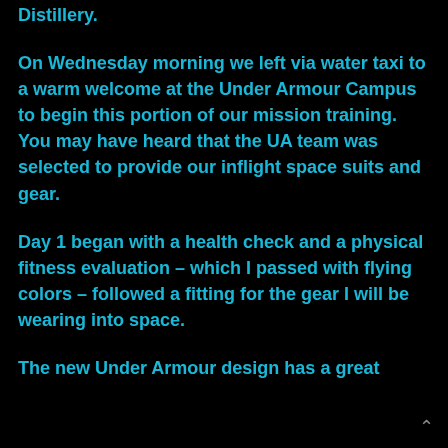Distillery.
On Wednesday morning we left via water taxi to a warm welcome at the Under Armour Campus to begin this portion of our mission training. You may have heard that the UA team was selected to provide our inflight space suits and gear.
Day 1 began with a health check and a physical fitness evaluation – which I passed with flying colors – followed a fitting for the gear I will be wearing into space.
The new Under Armour design has a great